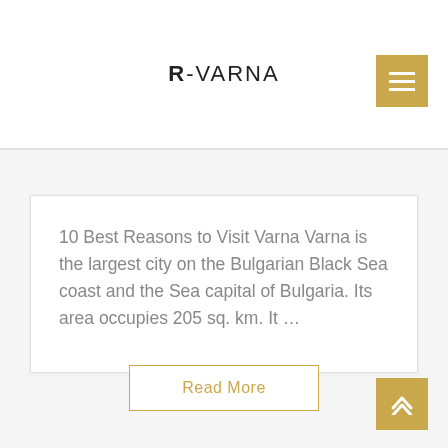R-VARNA
10 Best Reasons to Visit Varna Varna is the largest city on the Bulgarian Black Sea coast and the Sea capital of Bulgaria. Its area occupies 205 sq. km. It ...
Read More